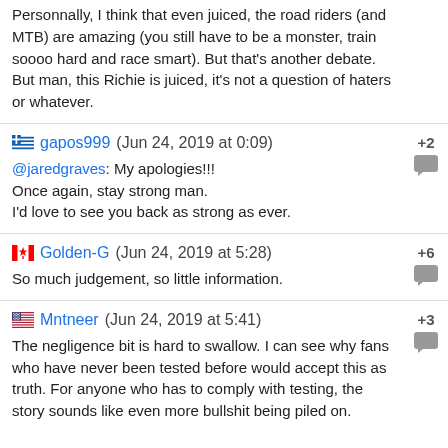Personnally, I think that even juiced, the road riders (and MTB) are amazing (you still have to be a monster, train soooo hard and race smart). But that's another debate.
But man, this Richie is juiced, it's not a question of haters or whatever.
gapos999 (Jun 24, 2019 at 0:09)  +2
@jaredgraves: My apologies!!!
Once again, stay strong man.
I'd love to see you back as strong as ever.
Golden-G (Jun 24, 2019 at 5:28)  +6
So much judgement, so little information.
Mntneer (Jun 24, 2019 at 5:41)  +3
The negligence bit is hard to swallow. I can see why fans who have never been tested before would accept this as truth. For anyone who has to comply with testing, the story sounds like even more bullshit being piled on.

I was a division I college athlete, and we knew the ins and outs of WADA regs and procedures like it was the Bible. Partially because lots of a...